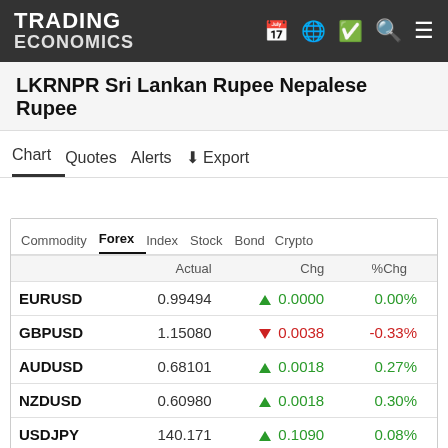TRADING ECONOMICS
LKRNPR Sri Lankan Rupee Nepalese Rupee
Chart | Quotes | Alerts | Export
|  | Actual | Chg | %Chg |
| --- | --- | --- | --- |
| EURUSD | 0.99494 | ▲ 0.0000 | 0.00% |
| GBPUSD | 1.15080 | ▼ 0.0038 | -0.33% |
| AUDUSD | 0.68101 | ▲ 0.0018 | 0.27% |
| NZDUSD | 0.60980 | ▲ 0.0018 | 0.30% |
| USDJPY | 140.171 | ▲ 0.1090 | 0.08% |
| USDCNY | 6.91830 | ▲ 0.0033 | 0.05% |